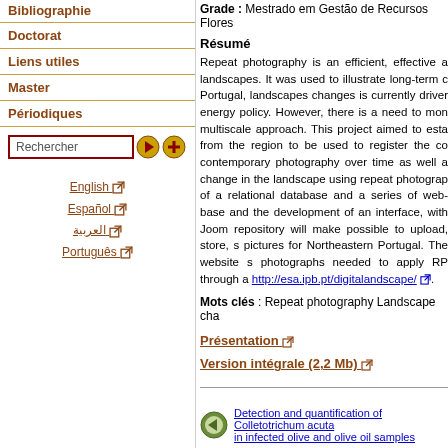Bibliographie
Doctorat
Liens utiles
Master
Périodiques
Rechercher
English
Español
العربية
Português
Grade : Mestrado em Gestão de Recursos Flores
Résumé
Repeat photography is an efficient, effective a landscapes. It was used to illustrate long-term c Portugal, landscapes changes is currently driver energy policy. However, there is a need to mon multiscale approach. This project aimed to esta from the region to be used to register the co contemporary photography over time as well a change in the landscape using repeat photograp of a relational database and a series of web-base and the development of an interface, with Joom repository will make possible to upload, store, s pictures for Northeastern Portugal. The website s photographs needed to apply RP through a http://esa.ipb.pt/digitalandscape/.
Mots clés : Repeat photography Landscape cha
Présentation
Version intégrale (2,2 Mb)
Detection and quantification of Colletotrichum acuta in infected olive and olive oil samples